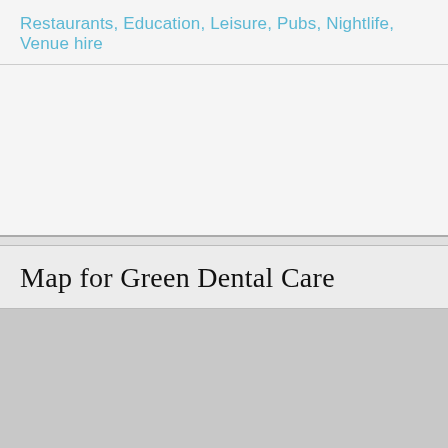Restaurants, Education, Leisure, Pubs, Nightlife, Venue hire
Map for Green Dental Care
[Figure (map): A map placeholder area shown as a grey rectangle representing the map for Green Dental Care location.]